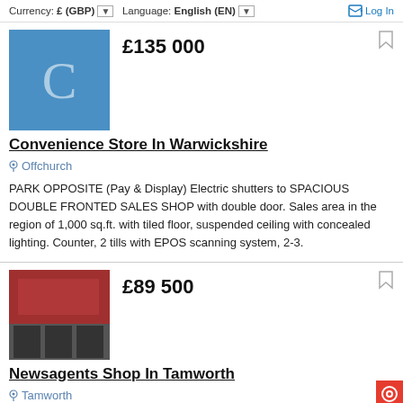Currency: £ (GBP) Language: English (EN) Log In
Convenience Store In Warwickshire
£135 000
Offchurch
PARK OPPOSITE (Pay & Display) Electric shutters to SPACIOUS DOUBLE FRONTED SALES SHOP with double door. Sales area in the region of 1,000 sq.ft. with tiled floor, suspended ceiling with concealed lighting. Counter, 2 tills with EPOS scanning system, 2-3.
Newsagents Shop In Tamworth
£89 500
Tamworth
Long Established Newsagents Business with National Lottery Busy Main Road Trading Location High Takings £7,000 per week Weekly